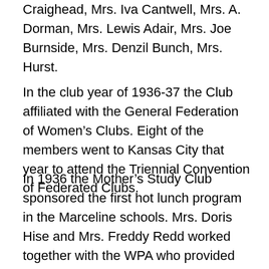Craighead, Mrs. Iva Cantwell, Mrs. A. Dorman, Mrs. Lewis Adair, Mrs. Joe Burnside, Mrs. Denzil Bunch, Mrs. Hurst.
In the club year of 1936-37 the Club affiliated with the General Federation of Women's Clubs. Eight of the members went to Kansas City that year to attend the Triennial Convention of Federated Clubs.
In 1936 the Mother's Study Club sponsored the first hot lunch program in the Marceline schools. Mrs. Doris Hise and Mrs. Freddy Redd worked together with the WPA who provided the labor. Government food was obtained and cooked in the home economics room in the high school by Mrs. Edna DeLong, WPA Supervisor. The custodian, Joe Oliver, distributed the food in large containers to the 3 schools where the club members